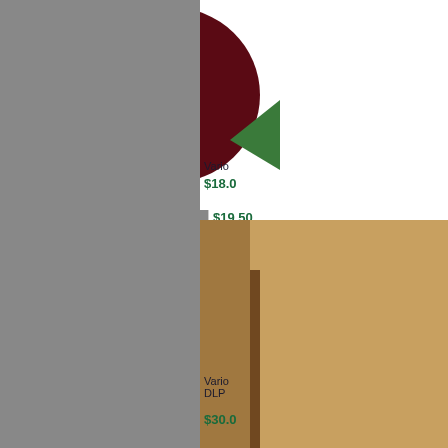[Figure (illustration): Record label oval illustration for RON HARDY #49, red/pink background with figure in jacket, orange text]
Various/RON HARDY #49 12"
$19.50
[Figure (illustration): Record label oval illustration for RON HARDY #52, orange/teal background with figure in jacket]
Various/RON HARDY #52 12"
$18.00
[Figure (illustration): Partial record/album cover visible on right side, dark maroon, partially cropped]
Vario
$18.0
[Figure (photo): Partial album cover visible on right bottom, warm tones, partially cropped]
Vario
DLP
$30.0